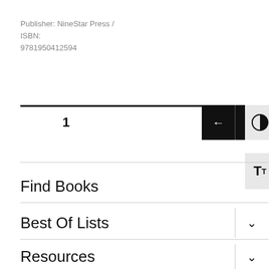Publisher: NineStar Press /
ISBN:
9781950412594
1
Find Books
Best Of Lists
Resources